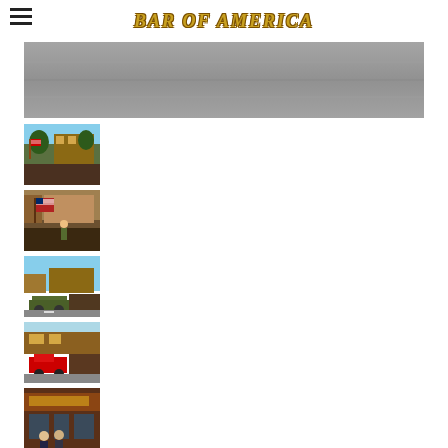BAR of AMERICA
[Figure (photo): Wide panoramic banner photo showing a gray asphalt road surface]
[Figure (photo): Thumbnail photo of a parade scene with crowd and rustic building in background, trees visible]
[Figure (photo): Thumbnail photo of parade with American flags and participants on a street]
[Figure (photo): Thumbnail photo of parade with military vehicle and crowd lining the street, blue sky]
[Figure (photo): Thumbnail photo of parade with red fire truck or vehicle and crowd, storefronts visible]
[Figure (photo): Thumbnail photo of people in front of Bar of America storefront, two men visible]